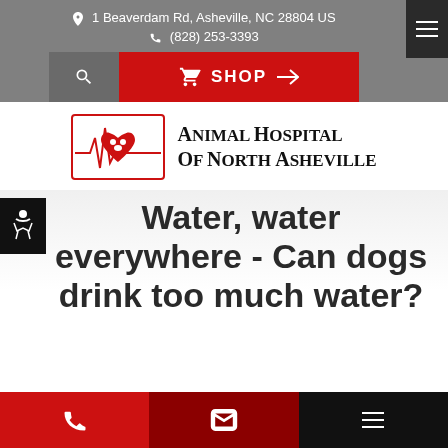1 Beaverdam Rd, Asheville, NC 28804 US
(828) 253-3393
[Figure (logo): Animal Hospital of North Asheville logo with heart and paw print icon on ECG line background, red and white, with text 'Animal Hospital Of North Asheville']
Water, water everywhere - Can dogs drink too much water?
Phone | Email | Menu navigation bar